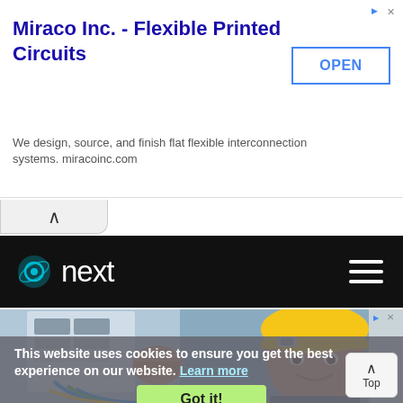[Figure (screenshot): Advertisement banner for Miraco Inc. - Flexible Printed Circuits with OPEN button]
Miraco Inc. - Flexible Printed Circuits
We design, source, and finish flat flexible interconnection systems. miracoinc.com
[Figure (screenshot): Website navigation bar with 'next' logo and hamburger menu on black background]
[Figure (photo): Electrician wearing yellow hard hat working on electrical panel with cables, smiling at camera]
This website uses cookies to ensure you get the best experience on our website. Learn more
Got it!